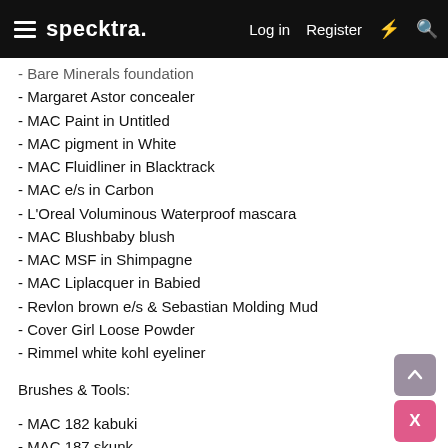specktra. Log in Register
- Bare Minerals foundation
- Margaret Astor concealer
- MAC Paint in Untitled
- MAC pigment in White
- MAC Fluidliner in Blacktrack
- MAC e/s in Carbon
- L'Oreal Voluminous Waterproof mascara
- MAC Blushbaby blush
- MAC MSF in Shimpagne
- MAC Liplacquer in Babied
- Revlon brown e/s & Sebastian Molding Mud
- Cover Girl Loose Powder
- Rimmel white kohl eyeliner
Brushes & Tools:
- MAC 182 kabuki
- MAC 187 skunk
- small lid brush
- small angled brush